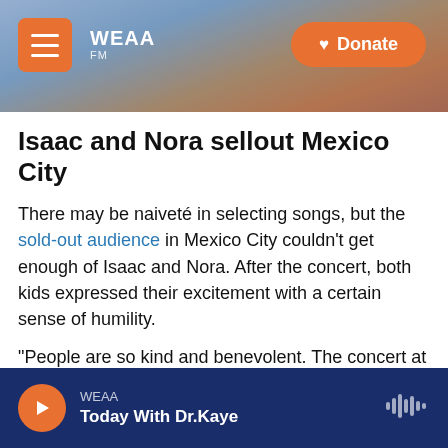[Figure (screenshot): WEAA radio website header banner with city skyline background, hamburger menu button, WEAA logo, and orange Donate button]
Isaac and Nora sellout Mexico City
There may be naiveté in selecting songs, but the sold-out audience in Mexico City couldn't get enough of Isaac and Nora. After the concert, both kids expressed their excitement with a certain sense of humility.
"People are so kind and benevolent. The concert at Sala Cantoral was incredible, before we came on stage people were already screaming," Isaac said.
"Although it could be intimidating to play for the first
WEAA — Today With Dr.Kaye